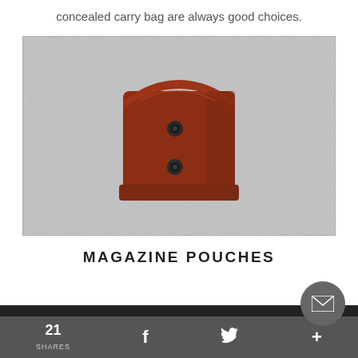concealed carry bag are always good choices.
[Figure (photo): A brown leather magazine pouch with two snap buttons on a gray textured background.]
MAGAZINE POUCHES
21 SHARES  [Facebook icon]  [Twitter icon]  [Plus icon]